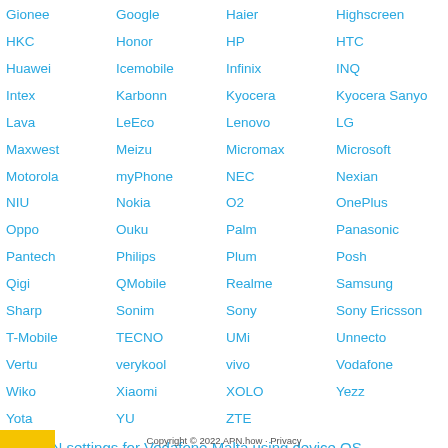Gionee | Google | Haier | Highscreen
HKC | Honor | HP | HTC
Huawei | Icemobile | Infinix | INQ
Intex | Karbonn | Kyocera | Kyocera Sanyo
Lava | LeEco | Lenovo | LG
Maxwest | Meizu | Micromax | Microsoft
Motorola | myPhone | NEC | Nexian
NIU | Nokia | O2 | OnePlus
Oppo | Ouku | Palm | Panasonic
Pantech | Philips | Plum | Posh
Qigi | QMobile | Realme | Samsung
Sharp | Sonim | Sony | Sony Ericsson
T-Mobile | TECNO | UMi | Unnecto
Vertu | verykool | vivo | Vodafone
Wiko | Xiaomi | XOLO | Yezz
Yota | YU | ZTE
Get APN settings for Vodafone Malta using device OS
Copyright © 2022 APN.how · Privacy